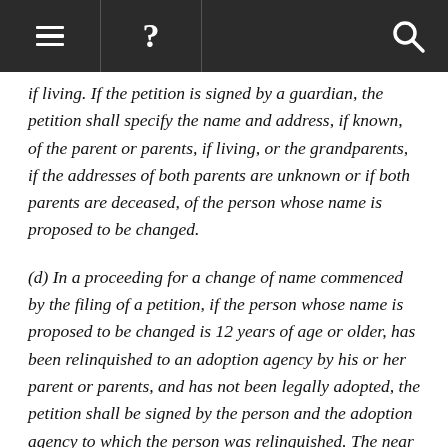Navigation bar with menu, help, and search icons
if living. If the petition is signed by a guardian, the petition shall specify the name and address, if known, of the parent or parents, if living, or the grandparents, if the addresses of both parents are unknown or if both parents are deceased, of the person whose name is proposed to be changed.
(d) In a proceeding for a change of name commenced by the filing of a petition, if the person whose name is proposed to be changed is 12 years of age or older, has been relinquished to an adoption agency by his or her parent or parents, and has not been legally adopted, the petition shall be signed by the person and the adoption agency to which the person was relinquished. The near relatives of the person and